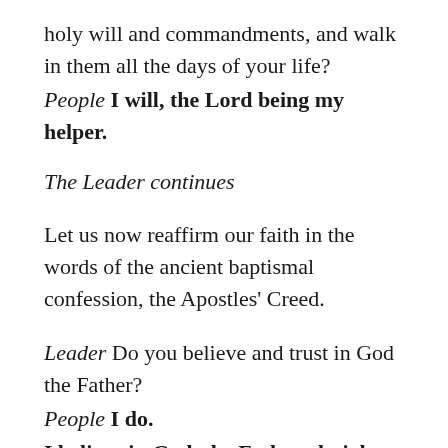holy will and commandments, and walk in them all the days of your life?
People I will, the Lord being my helper.
The Leader continues
Let us now reaffirm our faith in the words of the ancient baptismal confession, the Apostles' Creed.
Leader Do you believe and trust in God the Father?
People I do.
I believe in God, the Father almighty,